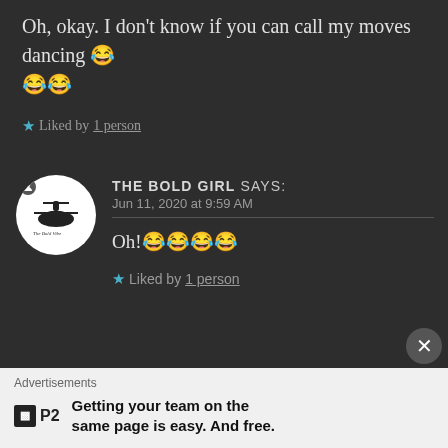Oh, okay. I don't know if you can call my moves dancing 😂😂😂
★ Liked by 1 person
THE BOLD GIRL says: Jun 11, 2020 at 9:59 AM
Oh!😂😂😂😂
★ Liked by 1 person
Advertisements
Getting your team on the same page is easy. And free.